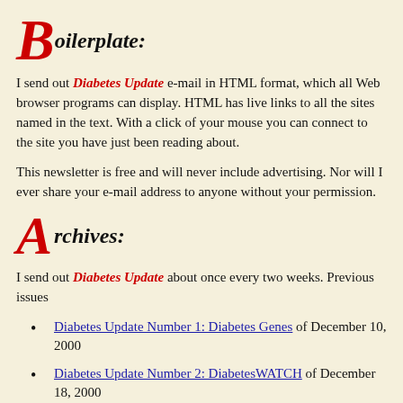Boilerplate:
I send out Diabetes Update e-mail in HTML format, which all Web browser programs can display. HTML has live links to all the sites named in the text. With a click of your mouse you can connect to the site you have just been reading about.
This newsletter is free and will never include advertising. Nor will I ever give your e-mail address to anyone without your permission.
Archives:
I send out Diabetes Update about once every two weeks. Previous issues include:
Diabetes Update Number 1: Diabetes Genes of December 10, 2000
Diabetes Update Number 2: DiabetesWATCH of December 18, 2000
Diabetes Update Number 3: Starlix of January 3, 2001
Diabetes Update Number 4: Native Seeds/SEARCH, Tepary Beans of J...
Diabetes Update Number 5: Insulin Makes You Fat of January 31, 2001
Diabetes Update Number 6: Available and Unavailable Carbohydrates...